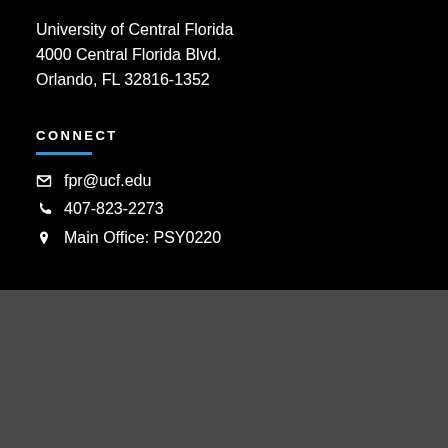University of Central Florida
4000 Central Florida Blvd.
Orlando, FL 32816-1352
CONNECT
fpr@ucf.edu
407-823-2273
Main Office: PSY0220
UNIVERSITY OF CENTRAL FLORIDA
4000 Central Florida Blvd. Orlando, Florida, 32816 | 407.823.2000
© University of Central Florida